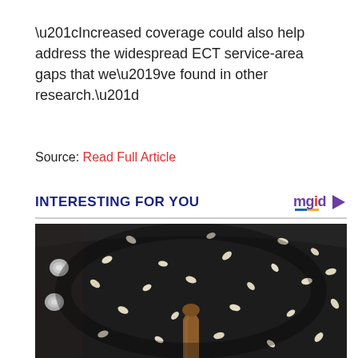“Increased coverage could also help address the widespread ECT service-area gaps that we’ve found in other research.”
Source: Read Full Article
INTERESTING FOR YOU
[Figure (photo): A black non-stick frying pan viewed from above, filled with black sesame seeds and white sesame seeds, with a wooden spatula partially visible at the bottom center. Rivets or bolts are visible on the left side of the pan handle area.]